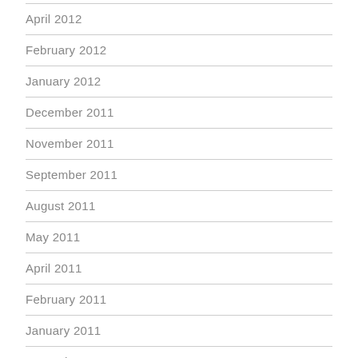April 2012
February 2012
January 2012
December 2011
November 2011
September 2011
August 2011
May 2011
April 2011
February 2011
January 2011
December 2010